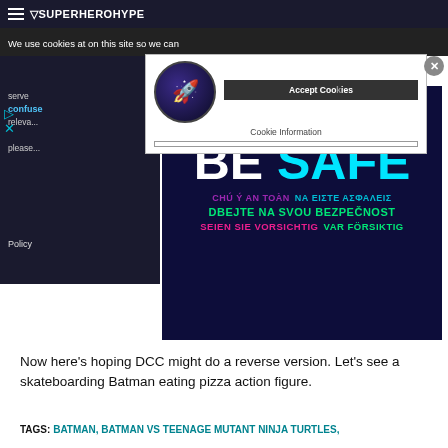SuperHeroHype
We use cookies at on this site so we can serve confusing... relevance... please... Policy
[Figure (screenshot): Cookie consent dialog overlay with Accept Cookies button and Cookie Information link, close X button]
[Figure (illustration): BE SAFE multilingual safety poster on dark navy background. Text in multiple languages: SYNID ADGAT CUNHES TE, ZACHOWAJ BEZPIECZENSTWO, VAR FORSIKTIG, safety notice in Korean, BE SAFE (large white and cyan text), CHU Y AN TOAN, NA EIZTE ASFALEIZ, DBEJTE NA SVOU BEZPECNOST, SEIEN SIE VORSICHTIG, VAR FORSIKTIG]
Now here’s hoping DCC might do a reverse version. Let’s see a skateboarding Batman eating pizza action figure.
TAGS: BATMAN, BATMAN VS TEENAGE MUTANT NINJA TURTLES,